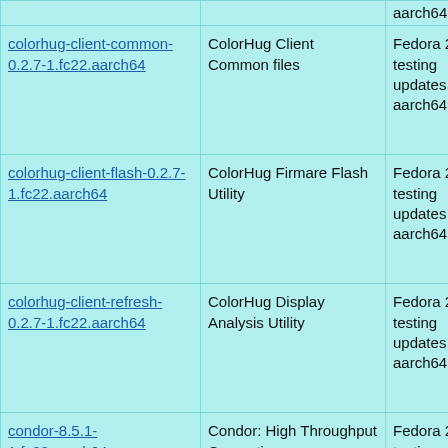| Package | Summary | Repository |
| --- | --- | --- |
| colorhug-client-common-0.2.7-1.fc22.aarch64 | ColorHug Client Common files | Fedora 22 testing updates for aarch64 |
| colorhug-client-flash-0.2.7-1.fc22.aarch64 | ColorHug Firmare Flash Utility | Fedora 22 testing updates for aarch64 |
| colorhug-client-refresh-0.2.7-1.fc22.aarch64 | ColorHug Display Analysis Utility | Fedora 22 testing updates for aarch64 |
| condor-8.5.1-1.fc22.aarch64 | Condor: High Throughput Computing | Fedora 22 testing updates for aarch64 |